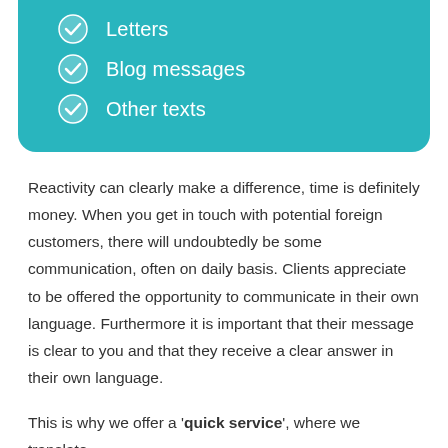Letters
Blog messages
Other texts
Reactivity can clearly make a difference, time is definitely money. When you get in touch with potential foreign customers, there will undoubtedly be some communication, often on daily basis. Clients appreciate to be offered the opportunity to communicate in their own language. Furthermore it is important that their message is clear to you and that they receive a clear answer in their own language.
This is why we offer a 'quick service', where we translate